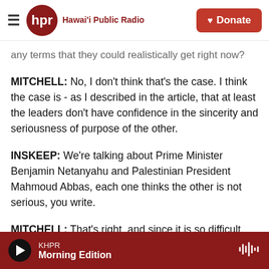Hawai'i Public Radio — Donate
any terms that they could realistically get right now?
MITCHELL: No, I don't think that's the case. I think the case is - as I described in the article, that at least the leaders don't have confidence in the sincerity and seriousness of purpose of the other.
INSKEEP: We're talking about Prime Minister Benjamin Netanyahu and Palestinian President Mahmoud Abbas, each one thinks the other is not serious, you write.
MITCHELL: That's right, and since it is so difficult
KHPR — Morning Edition